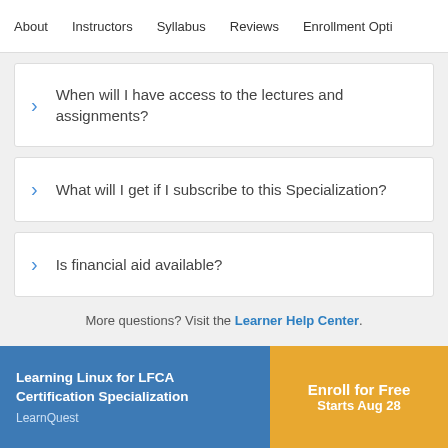About   Instructors   Syllabus   Reviews   Enrollment Opti
When will I have access to the lectures and assignments?
What will I get if I subscribe to this Specialization?
Is financial aid available?
More questions? Visit the Learner Help Center.
Learning Linux for LFCA Certification Specialization
LearnQuest
Enroll for Free
Starts Aug 28